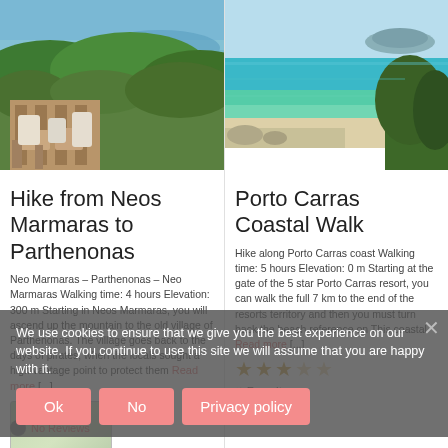[Figure (photo): Terrace with wooden furniture overlooking forested hills and sea, Neos Marmaras]
[Figure (photo): Turquoise coastal sea with sandy beach and pine trees, Porto Carras]
Hike from Neos Marmaras to Parthenonas
Porto Carras Coastal Walk
Neo Marmaras – Parthenonas – Neo Marmaras Walking time: 4 hours Elevation: 300 m Starting in Neos Marmaras, you will ascend up the mountain to the old village of Parthenonas. The village goes back to the days of pirates, when the locals sought a high vantage point to protect them Read more [...]
Hike along Porto Carras coast Walking time: 5 hours Elevation: 0 m Starting at the gate of the 5 star Porto Carras resort, you can walk the full 7 km to the end of the resorts territory and then you must turn back the beach reference on This coastal Read more [...]
We use cookies to ensure that we give you the best experience on our website. If you continue to use this site we will assume that you are happy with it.
Ok
No
Privacy policy
Favorite
No Reviews